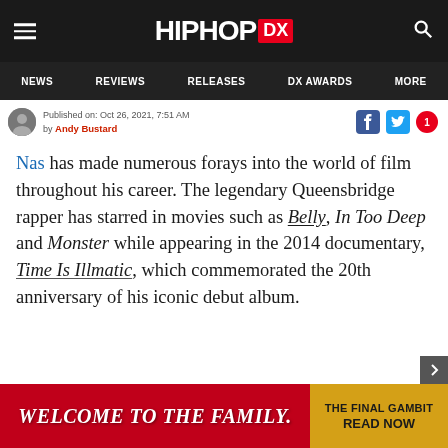HIPHOP DX — Navigation: NEWS | REVIEWS | RELEASES | DX AWARDS | MORE
Published on: Oct 26, 2021, 7:51 AM
by Andy Bustard
Nas has made numerous forays into the world of film throughout his career. The legendary Queensbridge rapper has starred in movies such as Belly, In Too Deep and Monster while appearing in the 2014 documentary, Time Is Illmatic, which commemorated the 20th anniversary of his iconic debut album.
[Figure (other): Advertisement banner: 'WELCOME TO THE FAMILY.' on red background with 'THE FINAL GAMBIT READ NOW' on golden background]